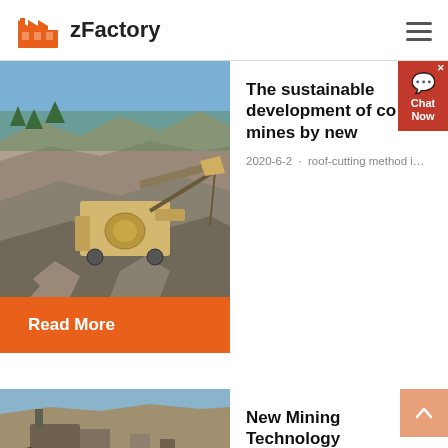zFactory
[Figure (photo): Quarry mining site with heavy machinery and rock crushing equipment on rocky terrain]
The sustainable development of coal mines by new
2020-6-2 · roof-cutting method i…
Read More
[Figure (photo): Mining machinery and coal processing equipment]
New Mining Technology Emerge from Australia | Coal